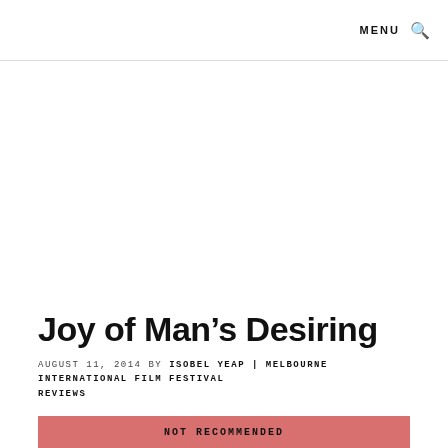MENU 🔍
[Figure (photo): Large image area, blank/white space representing a photo placeholder]
Joy of Man's Desiring
AUGUST 11, 2014 BY ISOBEL YEAP | MELBOURNE INTERNATIONAL FILM FESTIVAL REVIEWS
NOT RECOMMENDED